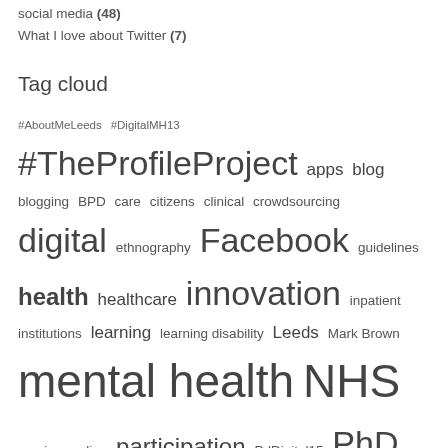social media (48)
What I love about Twitter (7)
Tag cloud
#AboutMeLeeds #DigitalMH13 #TheProfileProject apps blog blogging BPD care citizens clinical crowdsourcing digital ethnography Facebook guidelines health healthcare innovation inpatient institutions learning learning disability Leeds Mark Brown mental health NHS nursing online participation PdDigital15 PhD pinterest professionals profile public sector recovery research resesarch social care social media stigma technology twitter unconference